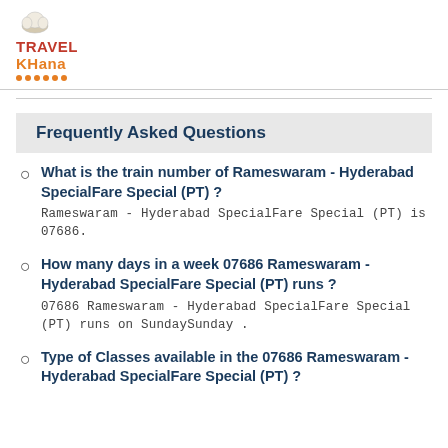[Figure (logo): TravelKhana logo with chef hat icon, red TRAVEL text and orange KHANA text with orange dots underline]
Frequently Asked Questions
What is the train number of Rameswaram - Hyderabad SpecialFare Special (PT) ? Rameswaram - Hyderabad SpecialFare Special (PT) is 07686.
How many days in a week 07686 Rameswaram - Hyderabad SpecialFare Special (PT) runs ? 07686 Rameswaram - Hyderabad SpecialFare Special (PT) runs on SundaySunday .
Type of Classes available in the 07686 Rameswaram - Hyderabad SpecialFare Special (PT) ?